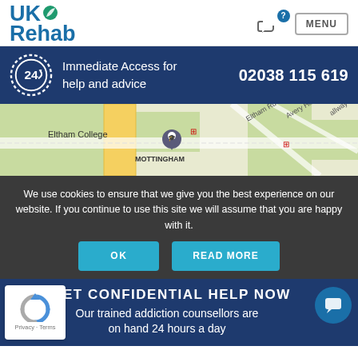[Figure (logo): UK Rehab logo with leaf icon in top left header]
[Figure (infographic): Navigation header with phone icon, question mark badge, and MENU button]
Immediate Access for help and advice
02038 115 619
[Figure (map): Street map showing Eltham College, Mottingham area with roads including Eltham Rd, Avery Hill Rd]
We use cookies to ensure that we give you the best experience on our website. If you continue to use this site we will assume that you are happy with it.
OK
READ MORE
GET CONFIDENTIAL HELP NOW
Our trained addiction counsellors are on hand 24 hours a day